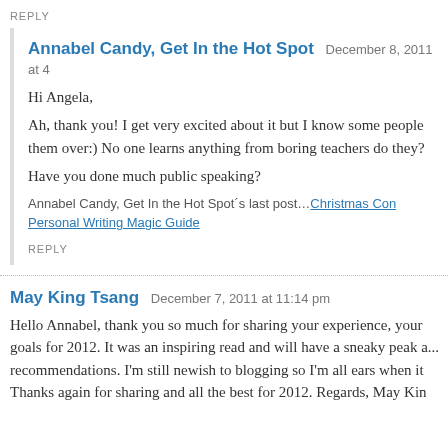REPLY
Annabel Candy, Get In the Hot Spot   December 8, 2011 at 4...
Hi Angela,
Ah, thank you! I get very excited about it but I know some people them over:) No one learns anything from boring teachers do they?
Have you done much public speaking?
Annabel Candy, Get In the Hot Spot´s last post…Christmas Con... Personal Writing Magic Guide
REPLY
May King Tsang   December 7, 2011 at 11:14 pm
Hello Annabel, thank you so much for sharing your experience, your goals for 2012. It was an inspiring read and will have a sneaky peak a... recommendations. I'm still newish to blogging so I'm all ears when it... Thanks again for sharing and all the best for 2012. Regards, May Kin...